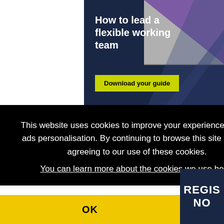[Figure (screenshot): Advertisement banner with dark navy background. Title reads 'How to lead a flexible working team' in bold white text. Yellow-green button reads 'Download your guide'. Purple and blue geometric shapes with a photo of people working at a table in the top right.]
This website uses cookies to improve your experience and for ads personalisation. By continuing to browse this site you are agreeing to our use of these cookies.
You can learn more about the cookies we use here.
OK